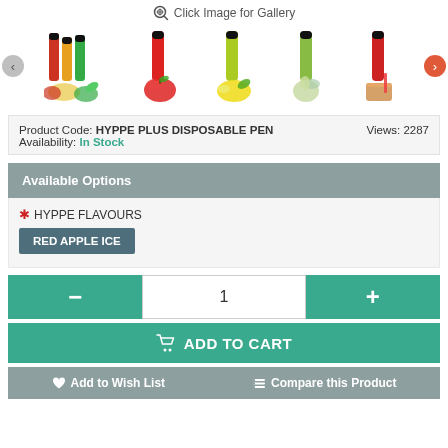🔍 Click Image for Gallery
[Figure (photo): Product image carousel showing 5 vape pen products with fruit flavors (mixed, red apple, lemon, pear/green, cola/red) with left and right navigation arrows]
Product Code: HYPPE PLUS DISPOSABLE PEN    Views: 2287
Availability: In Stock
Available Options
* HYPPE FLAVOURS
RED APPLE ICE
- 1 +
ADD TO CART
Add to Wish List    Compare this Product